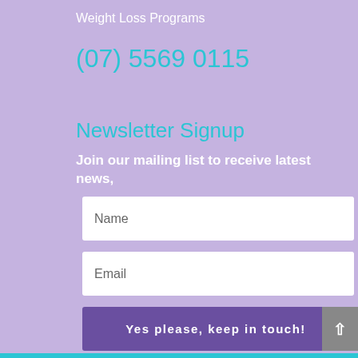Weight Loss Programs
(07) 5569 0115
Newsletter Signup
Join our mailing list to receive latest news,
Name
Email
Yes please, keep in touch!
Integrated Health Specialists
5 Stars – 30 Reviews on truelocal.com.au